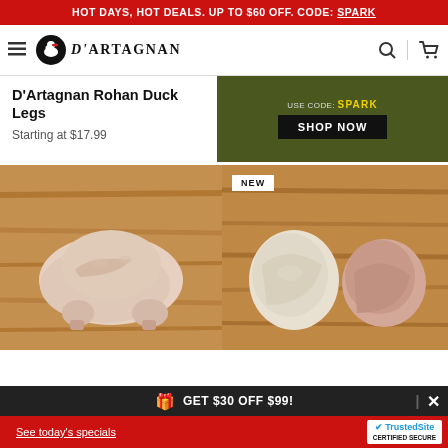HOT DAYS, HOT DEALS. UP TO $60 OFF. CODE: SPARK
[Figure (logo): D'Artagnan brand logo with circular emblem and hamburger menu, search and cart icons]
D'Artagnan Rohan Duck Legs
Starting at $17.99
[Figure (screenshot): Dark olive green ad banner with USE CODE: SPARK text and SHOP NOW black button]
[Figure (photo): Raw whole duck on wooden cutting board]
[Figure (photo): Raw duck pieces on wooden cutting board with NEW badge]
GET $30 OFF $99!
See today's specials | TrustedSite CERTIFIED SECURE